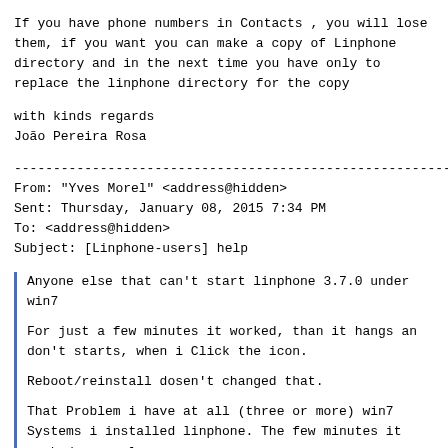If you have phone numbers in Contacts , you will lose them, if you want you can make a copy of Linphone directory and in the next time you have only to replace the linphone directory for the copy
with kinds regards
João Pereira Rosa
--------------------------------------------------------
From: "Yves Morel" <address@hidden>
Sent: Thursday, January 08, 2015 7:34 PM
To: <address@hidden>
Subject: [Linphone-users] help
Anyone else that can't start linphone 3.7.0 under win7

For just a few minutes it worked, than it hangs an don't starts, when i Click the icon.

Reboot/reinstall dosen't changed that.

That Problem i have at all (three or more) win7 Systems i installed linphone. The few minutes it worked properly.

Any ideas
--------------------------------------------------------